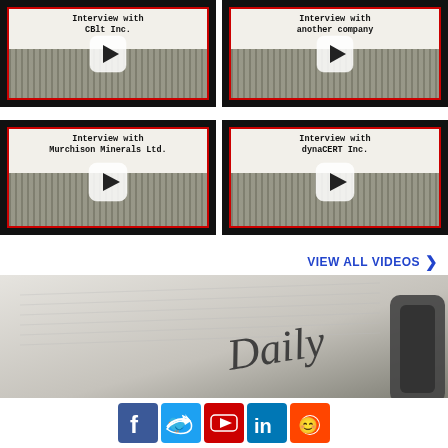[Figure (screenshot): Video thumbnail 1: Interview with a company (top left), typewriter/ruler background with play button]
[Figure (screenshot): Video thumbnail 2: Interview with another company (top right), typewriter/ruler background with play button]
[Figure (screenshot): Video thumbnail 3: Interview with Murchison Minerals Ltd. (bottom left), typewriter/ruler background with play button]
[Figure (screenshot): Video thumbnail 4: Interview with dynaCERT Inc. (bottom right), typewriter/ruler background with play button]
VIEW ALL VIDEOS >
[Figure (screenshot): Bottom banner image showing 'Daily' text on paper background]
[Figure (screenshot): Social media icons bar: Facebook, Twitter, YouTube, LinkedIn, Reddit]